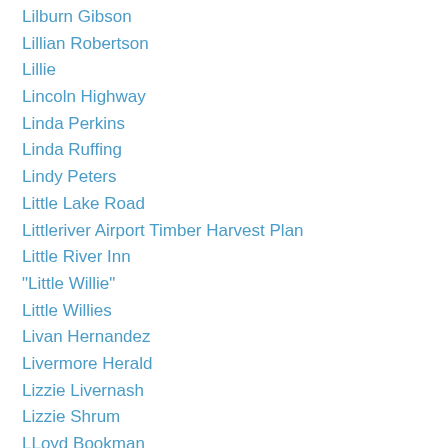Lilburn Gibson
Lillian Robertson
Lillie
Lincoln Highway
Linda Perkins
Linda Ruffing
Lindy Peters
Little Lake Road
Littleriver Airport Timber Harvest Plan
Little River Inn
"Little Willie"
Little Willies
Livan Hernandez
Livermore Herald
Lizzie Livernash
Lizzie Shrum
LLoyd Bookman
Local Agency Investment Fund
Logan Trace
Lolo National Forest
Lonesome Dove